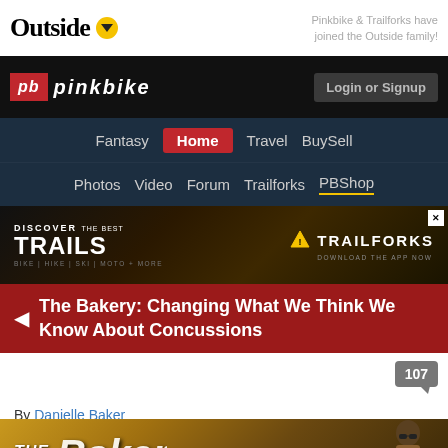Outside — Pinkbike & Trailforks have joined the Outside family!
[Figure (screenshot): Pinkbike website navigation bar with logo, Login or Signup button, primary nav (Fantasy, Home, Travel, BuySell) and secondary nav (Photos, Video, Forum, Trailforks, PBShop)]
[Figure (screenshot): Trailforks advertisement banner: Discover the best Trails - Bike, Hike, Ski, Moto + More - Download the App Now]
The Bakery: Changing What We Think We Know About Concussions
By Danielle Baker
Posted Mar 10, 2016
[Figure (photo): The Bakery article header image showing golden background with stylized italic text and a person wearing sunglasses]